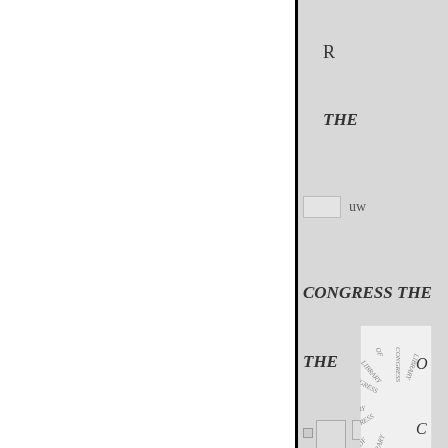R
THE
uw
CONGRESS THE
THE
[Figure (illustration): Decorative seal or emblem with circular text pattern, library of congress style]
O
C
L